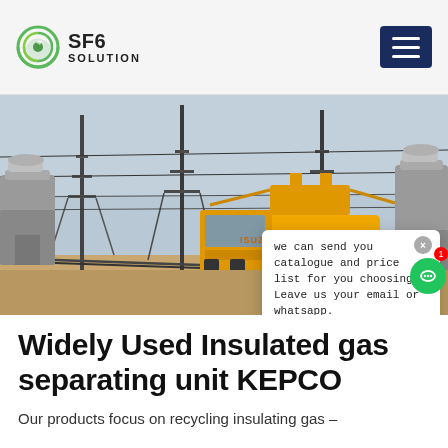SF6 SOLUTION
[Figure (photo): Yellow ISUZU service truck parked at an electrical substation with high-voltage equipment and power lines in the background. A chat popup overlay is visible in the lower right area of the image showing a message about sending catalogue and price list.]
Widely Used Insulated gas separating unit KEPCO
Our products focus on recycling insulating gas –